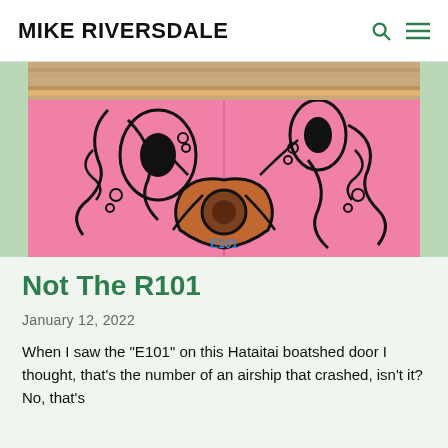MIKE RIVERSDALE
[Figure (photo): Photo of a pink boatshed door with black artistic octopus/creature mural design and a circular door handle. Wooden eave visible at top. Green wall on sides.]
Not The R101
January 12, 2022
When I saw the "E101" on this Hataitai boatshed door I thought, that's the number of an airship that crashed, isn't it? No, that's